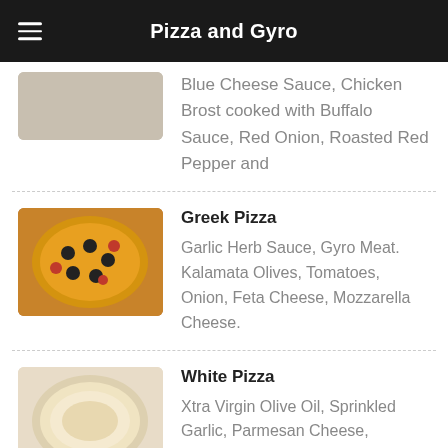Pizza and Gyro
Blue Cheese Sauce, Chicken Brost cooked with Buffalo Sauce, Red Onion, Roasted Red Pepper and
Greek Pizza
Garlic Herb Sauce, Gyro Meat. Kalamata Olives, Tomatoes, Onion, Feta Cheese, Mozzarella Cheese.
White Pizza
Xtra Virgin Olive Oil, Sprinkled Garlic, Parmesan Cheese, Mozzarella Cheese. Ricotta in small